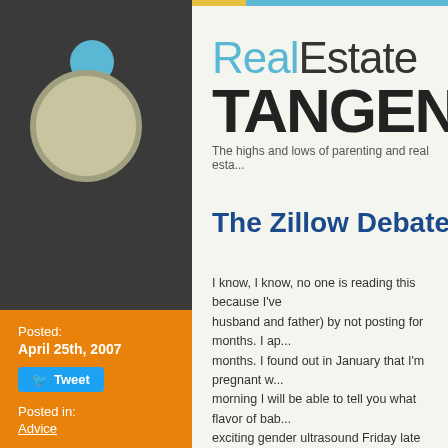[Figure (logo): Real Estate Tangent blog logo with cyan and dark text, decorative circles, tagline: The highs and lows of parenting and real estate]
The Zillow Debate Continues...
Posted: April 25th, 2007
Tweet
Posted in: Advice
6 Comments
I know, I know, no one is reading this because I've (along with my husband and father) by not posting for months. I ap... months. I found out in January that I'm pregnant w... morning I will be able to tell you what flavor of bab... exciting gender ultrasound Friday late afternoon). S... pregnancy. I'm sick and miserable (though I was de... taking that as a sign of other possible differences in... gender, maybe? Or maybe this one has three arms... and stressed, and miserable. But I've passed all of t... stomach virus and have moved on to the cheerful, e...